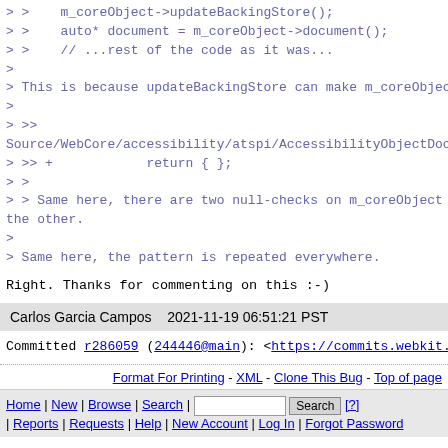> >    m_coreObject->updateBackingStore();
> >    auto* document = m_coreObject->document();
> >    // ...rest of the code as it was...
>
> This is because updateBackingStore can make m_coreObjec
>
> >>
Source/WebCore/accessibility/atspi/AccessibilityObjectDoc
> >> +            return { };
> >
> > Same here, there are two null-checks on m_coreObject
the other.
>
> Same here, the pattern is repeated everywhere.
Right. Thanks for commenting on this :-)
Carlos Garcia Campos   2021-11-19 06:51:21 PST
Committed r286059 (244446@main): <https://commits.webkit.
Format For Printing - XML - Clone This Bug - Top of page
Home | New | Browse | Search | [Search button] [?] | Reports | Requests | Help | New Account | Log In | Forgot Password